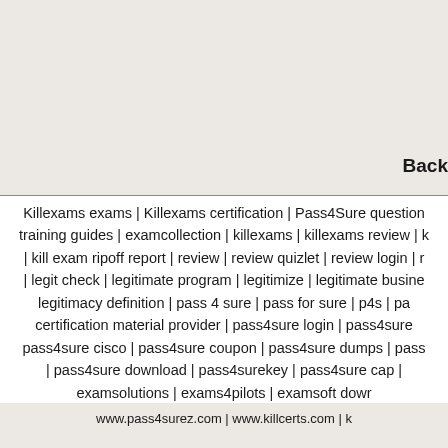Back
Killexams exams | Killexams certification | Pass4Sure question training guides | examcollection | killexams | killexams review | k | kill exam ripoff report | review | review quizlet | review login | r | legit check | legitimate program | legitimize | legitimate busine legitimacy definition | pass 4 sure | pass for sure | p4s | pa certification material provider | pass4sure login | pass4sure pass4sure cisco | pass4sure coupon | pass4sure dumps | pass | pass4sure download | pass4surekey | pass4sure cap | examsolutions | exams4pilots | examsoft dowr
www.pass4surez.com | www.killcerts.com | k